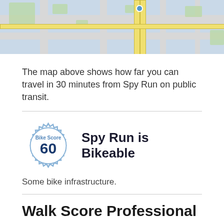[Figure (map): Street map showing transit coverage area from Spy Run location, with a blue dot marker at the location, yellow roads, green parks, and gray street grid on a light blue-gray background.]
The map above shows how far you can travel in 30 minutes from Spy Run on public transit.
[Figure (infographic): Bike Score badge showing score of 60 with gear/cog outline design and 'Bike Score' label in blue, next to text 'Spy Run is Bikeable']
Some bike infrastructure.
Walk Score Professional
Real Estate